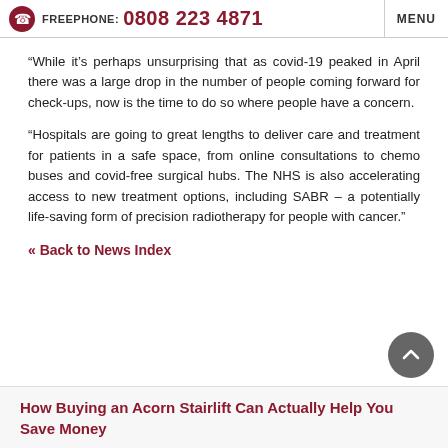FREEPHONE: 0808 223 4871   MENU
“While it’s perhaps unsurprising that as covid-19 peaked in April there was a large drop in the number of people coming forward for check-ups, now is the time to do so where people have a concern.
“Hospitals are going to great lengths to deliver care and treatment for patients in a safe space, from online consultations to chemo buses and covid-free surgical hubs. The NHS is also accelerating access to new treatment options, including SABR – a potentially life-saving form of precision radiotherapy for people with cancer.”
« Back to News Index
How Buying an Acorn Stairlift Can Actually Help You Save Money…